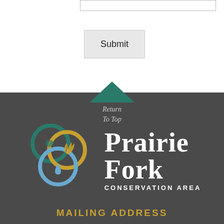[Figure (screenshot): Input text field (form element at top)]
[Figure (screenshot): Submit button (gray rectangular button)]
Return
To Top
[Figure (logo): Prairie Fork Conservation Area logo with three interlocking circles (teal, gold, blue) with feather and water drop inside, alongside large white serif text 'Prairie Fork' and subtitle 'Conservation Area']
MAILING ADDRESS